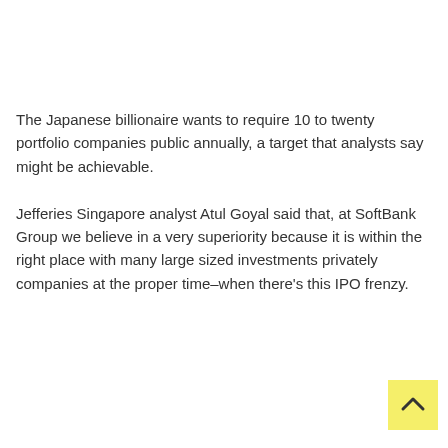The Japanese billionaire wants to require 10 to twenty portfolio companies public annually, a target that analysts say might be achievable.
Jefferies Singapore analyst Atul Goyal said that, at SoftBank Group we believe in a very superiority because it is within the right place with many large sized investments privately companies at the proper time–when there's this IPO frenzy.